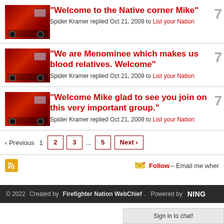"Welcome to the Native corner Mike" – Spider Kramer replied Oct 21, 2009 to List your Nation
"We are Menominee which makes us blood relatives. Welcome" – Spider Kramer replied Oct 21, 2009 to List your Nation
"Welcome Mike glad to see you join on this very important group." – Spider Kramer replied Oct 21, 2009 to List your Nation
‹ Previous  1  2  3  ...  5  Next ›
Follow – Email me when...
© 2022  Created by Firefighter Nation WebChief.  Powered by NING
Sign in to chat!